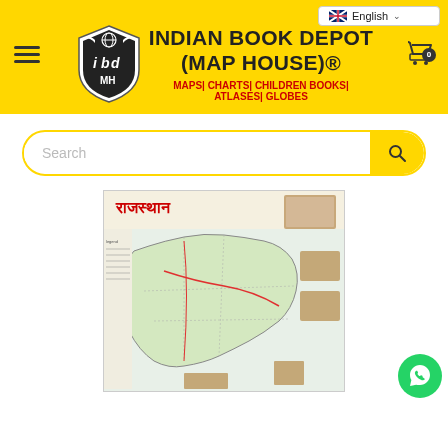[Figure (logo): Indian Book Depot (Map House) logo with shield emblem featuring 'ibd' letters and 'MH' text, on yellow header background with hamburger menu icon on left and shopping cart icon with badge '0' on right. Language selector showing English with flag at top right.]
INDIAN BOOK DEPOT (MAP HOUSE)®
MAPS| CHARTS| CHILDREN BOOKS| ATLASES| GLOBES
[Figure (screenshot): Search bar with rounded border in yellow, placeholder text 'Search', and yellow search button with magnifying glass icon on right.]
[Figure (map): Rajasthan state map in Hindi (राजस्थान) showing districts, roads, and geographic features with thumbnail photos of landmarks around the border.]